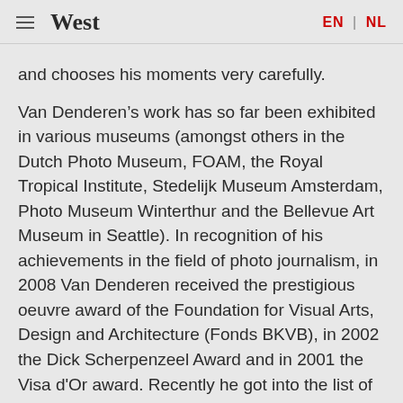West  EN | NL
and chooses his moments very carefully.
Van Denderen’s work has so far been exhibited in various museums (amongst others in the Dutch Photo Museum, FOAM, the Royal Tropical Institute, Stedelijk Museum Amsterdam, Photo Museum Winterthur and the Bellevue Art Museum in Seattle). In recognition of his achievements in the field of photo journalism, in 2008 Van Denderen received the prestigious oeuvre award of the Foundation for Visual Arts, Design and Architecture (Fonds BKVB), in 2002 the Dick Scherpenzeel Award and in 2001 the Visa d'Or award. Recently he got into the list of Top 100 Dutch artists of the magazine Elsevier in thirtieth place.
--
* Slow journalism is a form of journalistic research that